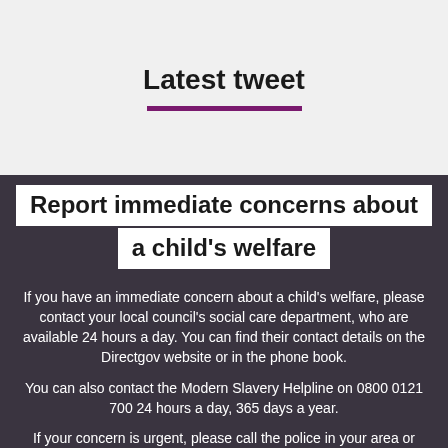Latest tweet
Report immediate concerns about a child's welfare
If you have an immediate concern about a child's welfare, please contact your local council's social care department, who are available 24 hours a day. You can find their contact details on the Directgov website or in the phone book.
You can also contact the Modern Slavery Helpline on 0800 0121 700 24 hours a day, 365 days a year.
If your concern is urgent, please call the police in your area or